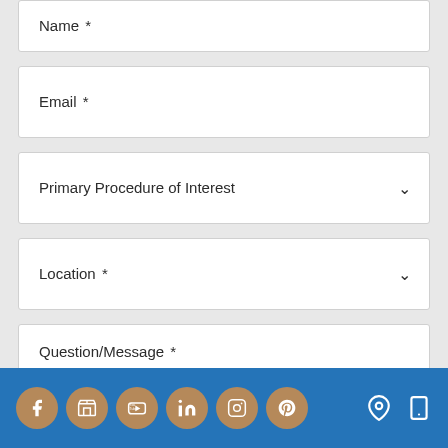Name *
Email *
Primary Procedure of Interest
Location *
Question/Message *
[Figure (screenshot): Website contact form footer with social media icons (Facebook, store, YouTube, LinkedIn, Instagram, Pinterest) in brown circles on blue background, plus location pin and mobile device icons on the right]